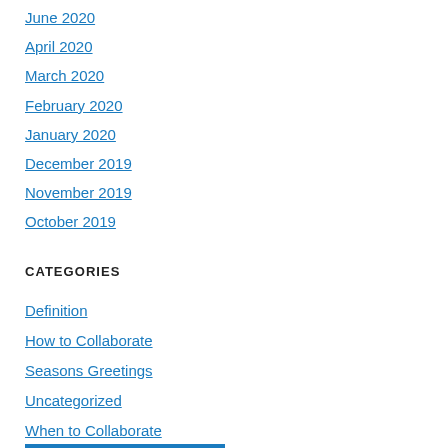June 2020
April 2020
March 2020
February 2020
January 2020
December 2019
November 2019
October 2019
CATEGORIES
Definition
How to Collaborate
Seasons Greetings
Uncategorized
When to Collaborate